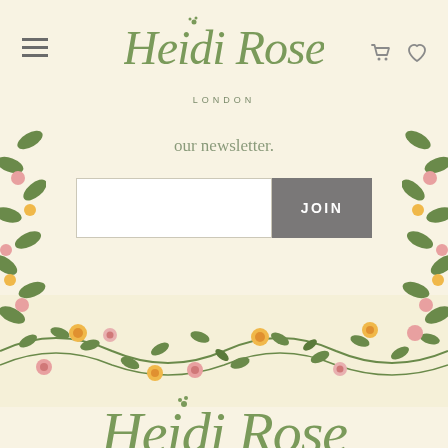[Figure (logo): Heidi Rose London cursive script logo in sage green, top of page]
our newsletter.
[Figure (screenshot): Email input field and JOIN button for newsletter signup]
[Figure (illustration): Floral pattern banner strip with pink, orange, and green flowers and leaves on cream background]
[Figure (logo): Heidi Rose cursive script logo in sage green, bottom of page, partially visible]